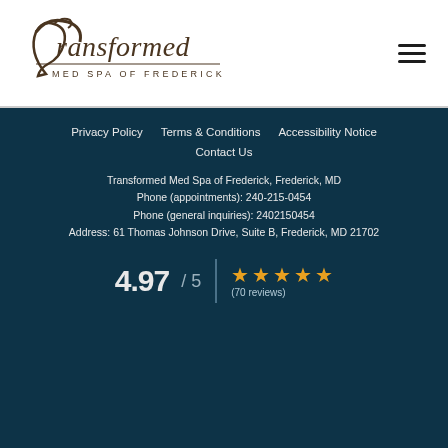[Figure (logo): Transformed Med Spa of Frederick cursive logo with tagline 'MED SPA OF FREDERICK']
Privacy Policy  Terms & Conditions  Accessibility Notice  Contact Us
Transformed Med Spa of Frederick, Frederick, MD
Phone (appointments): 240-215-0454
Phone (general inquiries): 2402150454
Address: 61 Thomas Johnson Drive, Suite B, Frederick, MD 21702
4.97 / 5  ★★★★★  (70 reviews)